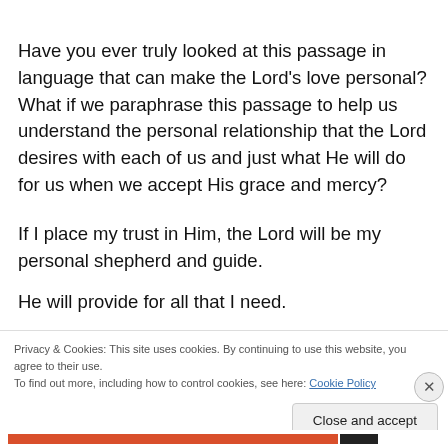Have you ever truly looked at this passage in language that can make the Lord's love personal? What if we paraphrase this passage to help us understand the personal relationship that the Lord desires with each of us and just what He will do for us when we accept His grace and mercy?
If I place my trust in Him, the Lord will be my personal shepherd and guide.
He will provide for all that I need.
Privacy & Cookies: This site uses cookies. By continuing to use this website, you agree to their use.
To find out more, including how to control cookies, see here: Cookie Policy
Close and accept